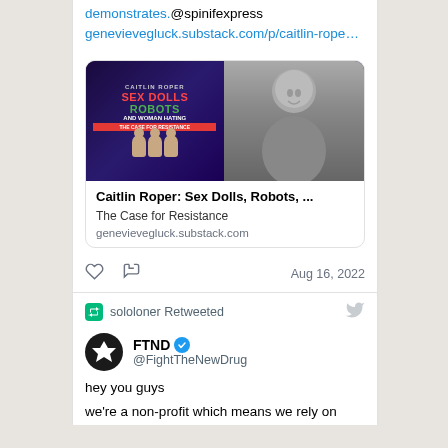demonstrates.@spinifexpress genevievegluck.substack.com/p/caitlin-rope…
[Figure (screenshot): Preview card for Substack article 'Caitlin Roper: Sex Dolls, Robots, ...' with book cover image showing 'SEX DOLLS ROBOTS AND WOMAN HATING' and a black-and-white photo of a woman]
Caitlin Roper: Sex Dolls, Robots, ...
The Case for Resistance
genevievegluck.substack.com
Aug 16, 2022
sololoner Retweeted
FTND @FightTheNewDrug
hey you guys
we're a non-profit which means we rely on